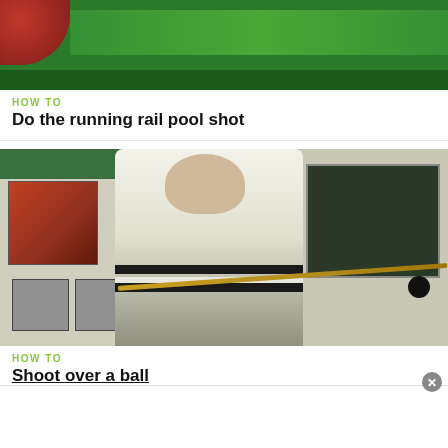[Figure (photo): Top portion of a billiards/pool table video thumbnail showing a green pool table surface with a red element in upper left corner]
HOW TO
Do the running rail pool shot
[Figure (photo): A man in a grey and white striped sweater holding a pool cue stick, standing in front of a wall with posters and a chalkboard in the background]
HOW TO
Shoot over a ball